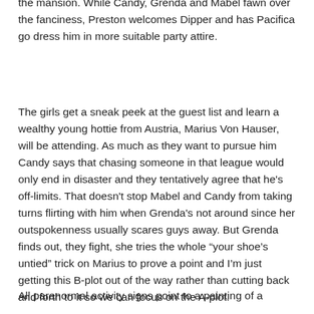the mansion. While Candy, Grenda and Mabel fawn over the fanciness, Preston welcomes Dipper and has Pacifica go dress him in more suitable party attire.
The girls get a sneak peek at the guest list and learn a wealthy young hottie from Austria, Marius Von Hauser, will be attending. As much as they want to pursue him Candy says that chasing someone in that league would only end in disaster and they tentatively agree that he's off-limits. That doesn't stop Mabel and Candy from taking turns flirting with him when Grenda's not around since her outspokenness usually scares guys away. But Grenda finds out, they fight, she tries the whole “your shoe's untied” trick on Marius to prove a point and I’m just getting this B-plot out of the way rather than cutting back and forth to it so we can focus on the A-plot.
All paranormal activity signs point to a painting of a